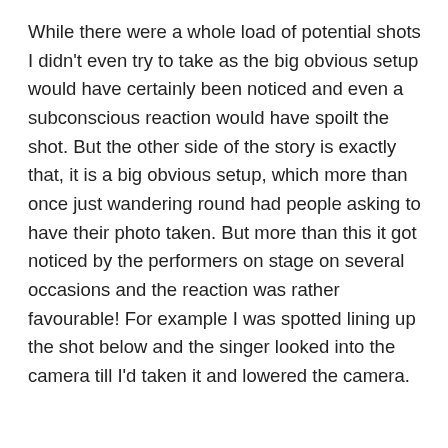While there were a whole load of potential shots I didn't even try to take as the big obvious setup would have certainly been noticed and even a subconscious reaction would have spoilt the shot. But the other side of the story is exactly that, it is a big obvious setup, which more than once just wandering round had people asking to have their photo taken. But more than this it got noticed by the performers on stage on several occasions and the reaction was rather favourable! For example I was spotted lining up the shot below and the singer looked into the camera till I'd taken it and lowered the camera.